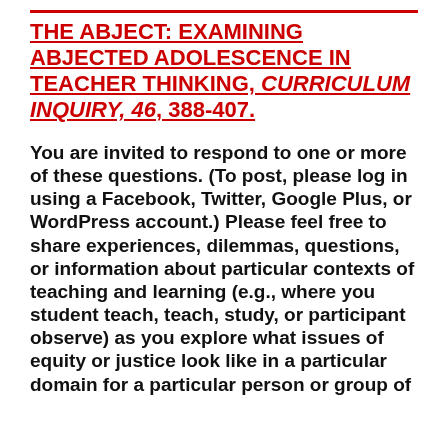THE ABJECT: EXAMINING ABJECTED ADOLESCENCE IN TEACHER THINKING, CURRICULUM INQUIRY, 46, 388-407.
You are invited to respond to one or more of these questions. (To post, please log in using a Facebook, Twitter, Google Plus, or WordPress account.) Please feel free to share experiences, dilemmas, questions, or information about particular contexts of teaching and learning (e.g., where you student teach, teach, study, or participant observe) as you explore what issues of equity or justice look like in a particular domain for a particular person or group of